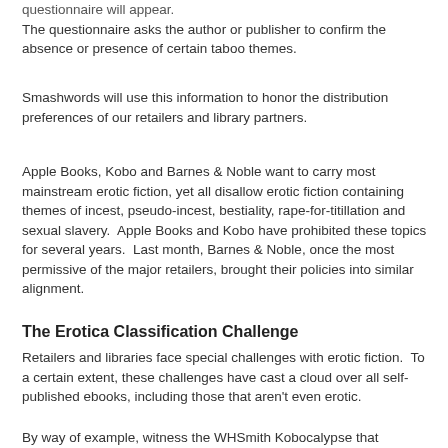questionnaire will appear. The questionnaire asks the author or publisher to confirm the absence or presence of certain taboo themes.
Smashwords will use this information to honor the distribution preferences of our retailers and library partners.
Apple Books, Kobo and Barnes & Noble want to carry most mainstream erotic fiction, yet all disallow erotic fiction containing themes of incest, pseudo-incest, bestiality, rape-for-titillation and sexual slavery.  Apple Books and Kobo have prohibited these topics for several years.  Last month, Barnes & Noble, once the most permissive of the major retailers, brought their policies into similar alignment.
The Erotica Classification Challenge
Retailers and libraries face special challenges with erotic fiction.  To a certain extent, these challenges have cast a cloud over all self-published ebooks, including those that aren't even erotic.
By way of example, witness the WHSmith Kobocalypse that